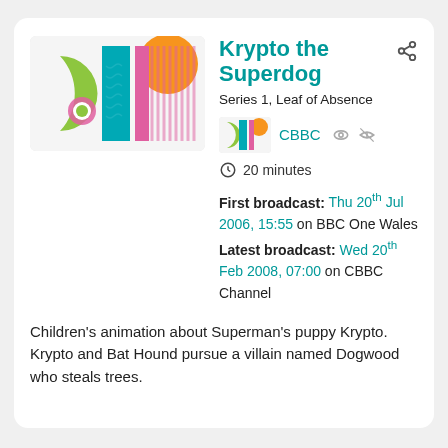[Figure (illustration): Colorful CBBC-style logo artwork with green crescent, teal rectangle, orange circle, pink stripe, and wavy patterns on white background - main large thumbnail]
Krypto the Superdog
Series 1, Leaf of Absence
[Figure (logo): Small CBBC logo thumbnail matching the larger image]
CBBC
20 minutes
First broadcast: Thu 20th Jul 2006, 15:55 on BBC One Wales Latest broadcast: Wed 20th Feb 2008, 07:00 on CBBC Channel
Children's animation about Superman's puppy Krypto. Krypto and Bat Hound pursue a villain named Dogwood who steals trees.